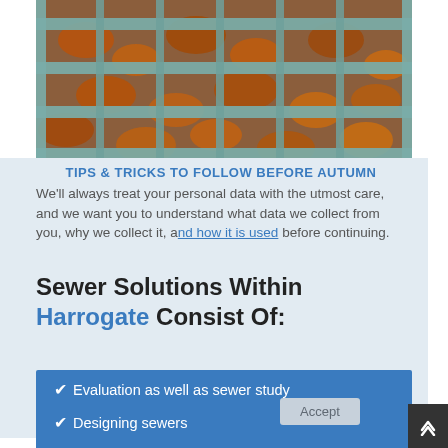[Figure (photo): Close-up photo of a metal drain grate with autumn leaves piled behind it, viewed from above. The grate has horizontal bars with a blue-green patina.]
TIPS & TRICKS TO FOLLOW BEFORE AUTUMN
We'll always treat your personal data with the utmost care, and we want you to understand what data we collect from you, why we collect it, and how it is used before continuing.
Sewer Solutions Within Harrogate Consist Of:
Evaluation as well as sewer study
Designing sewers
Creating Sewers